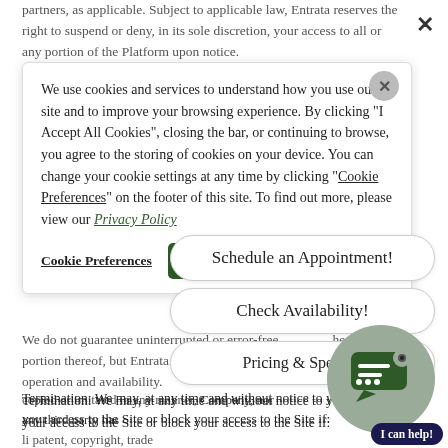partners, as applicable. Subject to applicable law, Entrata reserves the right to suspend or deny, in its sole discretion, your access to all or any portion of the Platform upon notice.
[Figure (screenshot): Cookie consent popup with text about cookies and services, a close X button, Cookie Preferences link, and I Accept All Cookies green button]
[Figure (screenshot): Appointment scheduling popup with three rounded buttons: Schedule an Appointment!, Check Availability!, Pricing & Specials. Also shows chat widget with circular icon and I can help! button.]
We do not guarantee uninterrupted or error-free operation of the Site or any portion thereof, but Entrata will use reasonable efforts to maintain its operation and availability.
Termination: We may, at any time and without notice to you, terminate your access to the Site or block your access to the Site if: